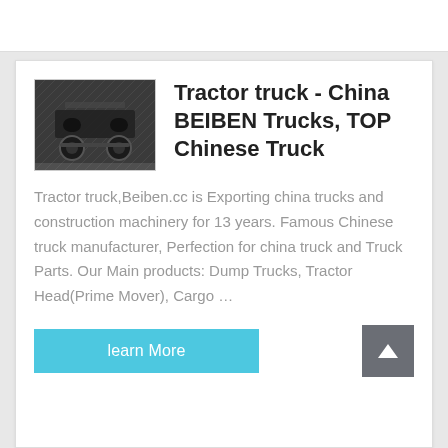[Figure (photo): Photo of the underside/rear of a tractor truck, dark tones, diamond plate background]
Tractor truck - China BEIBEN Trucks, TOP Chinese Truck
Tractor truck,Beiben.cc is Exporting china trucks and construction machinery for 13 years. Famous Chinese truck manufacturer, Perfection for china truck and Truck Parts. Our Main products: Dump Trucks, Tractor Head(Prime Mover), Cargo …